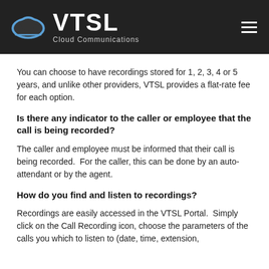VTSL Cloud Communications
You can choose to have recordings stored for 1, 2, 3, 4 or 5 years, and unlike other providers, VTSL provides a flat-rate fee for each option.
Is there any indicator to the caller or employee that the call is being recorded?
The caller and employee must be informed that their call is being recorded.  For the caller, this can be done by an auto-attendant or by the agent.
How do you find and listen to recordings?
Recordings are easily accessed in the VTSL Portal.  Simply click on the Call Recording icon, choose the parameters of the calls you which to listen to (date, time, extension,